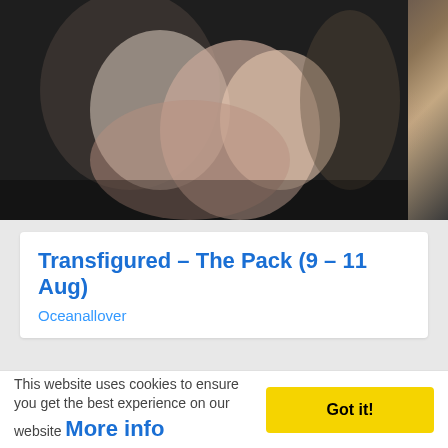[Figure (photo): A dramatic theatre or film scene showing a man grasping a woman's face from behind, both appearing distressed; dark moody lighting]
Transfigured – The Pack (9 – 11 Aug)
Oceanallover
[Figure (photo): A horizontal strip of small thumbnail images showing illustrated/artistic book or poster covers with decorative patterns]
This website uses cookies to ensure you get the best experience on our website More info
Got it!